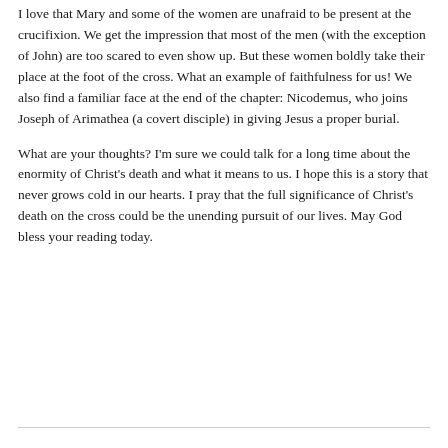I love that Mary and some of the women are unafraid to be present at the crucifixion. We get the impression that most of the men (with the exception of John) are too scared to even show up. But these women boldly take their place at the foot of the cross. What an example of faithfulness for us! We also find a familiar face at the end of the chapter: Nicodemus, who joins Joseph of Arimathea (a covert disciple) in giving Jesus a proper burial.
What are your thoughts? I'm sure we could talk for a long time about the enormity of Christ's death and what it means to us. I hope this is a story that never grows cold in our hearts. I pray that the full significance of Christ's death on the cross could be the unending pursuit of our lives. May God bless your reading today.